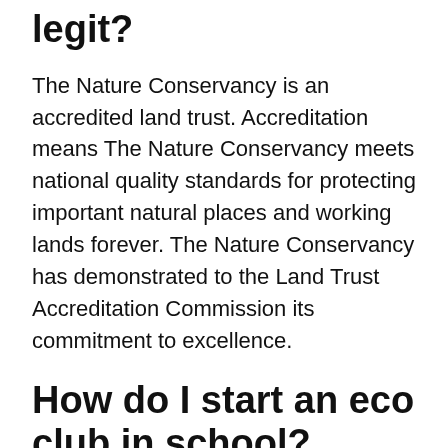legit?
The Nature Conservancy is an accredited land trust. Accreditation means The Nature Conservancy meets national quality standards for protecting important natural places and working lands forever. The Nature Conservancy has demonstrated to the Land Trust Accreditation Commission its commitment to excellence.
How do I start an eco club in school?
SHORT TERM ACTIVITIES FOR THE ENVIRONMENT CLUB
1. Have a notice board specifically